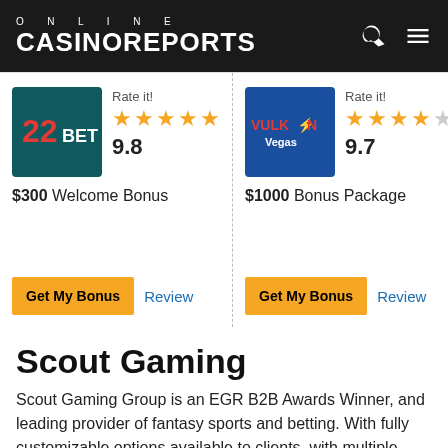ONLINE CASINOREPORTS
[Figure (infographic): 22Bet casino card: logo, 5 stars, rating 9.8, $300 Welcome Bonus, Get My Bonus button, Review link]
[Figure (infographic): Vulkan Vegas casino card: logo, 4.5 stars, rating 9.7, $1000 Bonus Package, Get My Bonus button, Review link]
Scout Gaming
Scout Gaming Group is an EGR B2B Awards Winner, and leading provider of fantasy sports and betting. With fully customizable options available to clients, with multiple